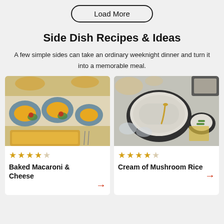Load More
Side Dish Recipes & Ideas
A few simple sides can take an ordinary weeknight dinner and turn it into a memorable meal.
[Figure (photo): Overhead view of blue plates with baked macaroni and cheese served with salads, plus a baking dish of mac and cheese with forks.]
★★★★☆ Baked Macaroni & Cheese →
[Figure (photo): Overhead view of a dark bowl filled with cream of mushroom rice, surrounded by side dishes including green beans and bread.]
★★★★☆ Cream of Mushroom Rice →